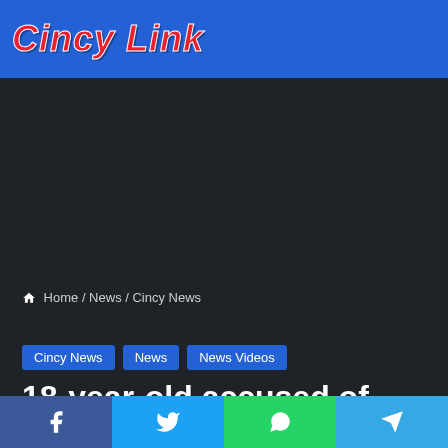Cincy Link
Home / News / Cincy News
Cincy News  News  News Videos
18-year-old accused of